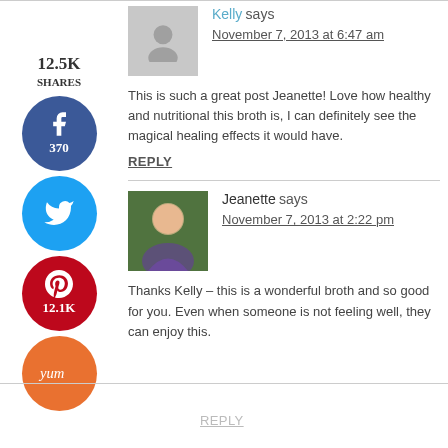12.5K SHARES
[Figure (infographic): Social sharing sidebar with Facebook (370), Twitter, Pinterest (12.1K), and Yum buttons]
Kelly says
November 7, 2013 at 6:47 am
This is such a great post Jeanette! Love how healthy and nutritional this broth is, I can definitely see the magical healing effects it would have.
REPLY
Jeanette says
November 7, 2013 at 2:22 pm
Thanks Kelly – this is a wonderful broth and so good for you. Even when someone is not feeling well, they can enjoy this.
REPLY